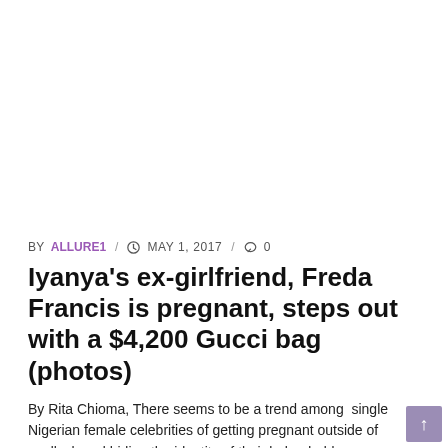[Figure (photo): Empty white image area at top of article page]
BY ALLURE1 / MAY 1, 2017 / 0
Iyanya's ex-girlfriend, Freda Francis is pregnant, steps out with a $4,200 Gucci bag (photos)
By Rita Chioma, There seems to be a trend among single Nigerian female celebrities of getting pregnant outside of wedlock and hiding the identity of their baby daddy. ...